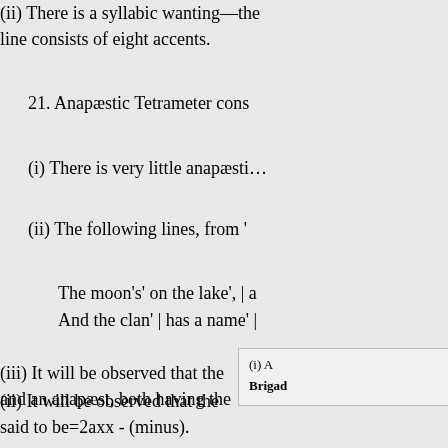(ii) There is a syllabic wanting—the line consists of eight accents.
21. Anapæstic Tetrameter cons…
(i) There is very little anapæsti…
(ii) The following lines, from '…
The moon's' on the lake', | a…
And the clan' | has a name' |…
(iii) It will be observed that the… and an anapæst, both having the…
22. Dactylic Dimeter consists…
(i) A…
Brigad…
(ii) It will be observed that the… said to be=2axx - (minus).